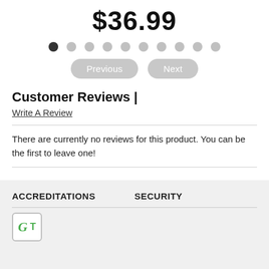$36.99
[Figure (other): Pagination dot indicators: 10 dots, first one dark/active, rest light gray]
[Figure (other): Previous and Next navigation buttons (rounded gray buttons)]
Customer Reviews |
Write A Review
There are currently no reviews for this product. You can be the first to leave one!
ACCREDITATIONS
SECURITY
[Figure (logo): Green accreditation badge with italic G and T letters]